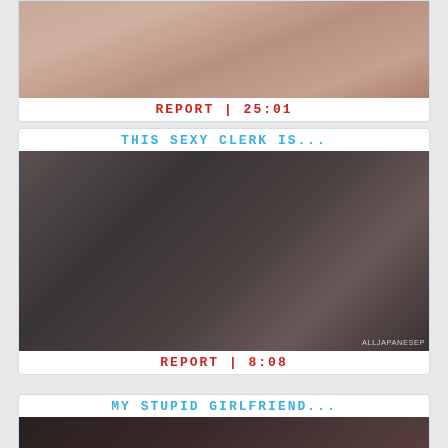[Figure (photo): Partial thumbnail of a person, cropped at top]
REPORT | 25:01
THIS SEXY CLERK IS...
[Figure (photo): Two people seated on a bus or train, woman with long black hair visible, watermark ALLJAPANESEP]
REPORT | 8:08
MY STUPID GIRLFRIEND...
[Figure (photo): Partial thumbnail of a woman, dark background]